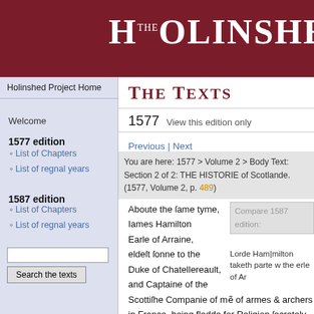THE HOLINSHED P
Holinshed Project Home
THE TEXTS
1577   View this edition only
Previous | Next
You are here: 1577 > Volume 2 > Body Text: Section 2 of 2: THE HISTORIE of Scotlande.
(1577, Volume 2, p. 489)
Welcome
1577 edition
List of Chapters
List of regnal years
1587 edition
List of Chapters
List of regnal years
Aboute the ſame tyme, Iames Hamilton Earle of Arraine, eldeſt ſonne to the Duke of Chatellereault, and Captaine of the Scottiſhe Companie of mẽ of armes & archers in France, being fledde for Religion ſecretely to Geneua, from thence came by the conuoy of M. Ran|dall Engliſhman into
Compare 1587 edition:
Lorde Ham|milton taketh parte w the erle of Ar